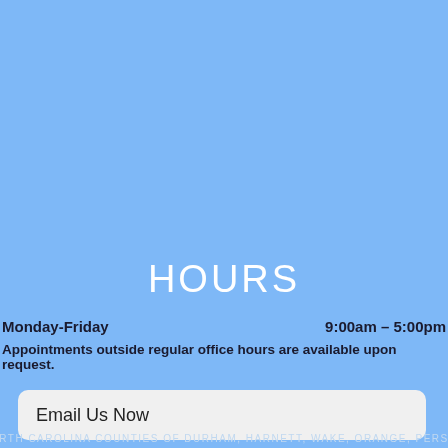HOURS
Monday-Friday    9:00am – 5:00pm
Appointments outside regular office hours are available upon request.
Email Us Now
NORTH CAROLINA COUNTIES OF DURHAM, HARNETT, WAKE, ORANGE, PERSON